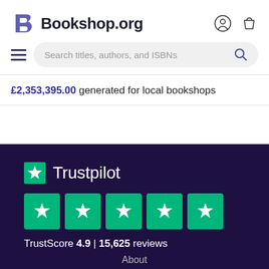[Figure (logo): Bookshop.org logo with stylized B and text]
Search titles, authors, and ISBNs
£2,353,395.00 generated for local bookshops
[Figure (logo): Trustpilot logo with green star and text, five green star rating boxes, TrustScore 4.9 | 15,625 reviews]
About